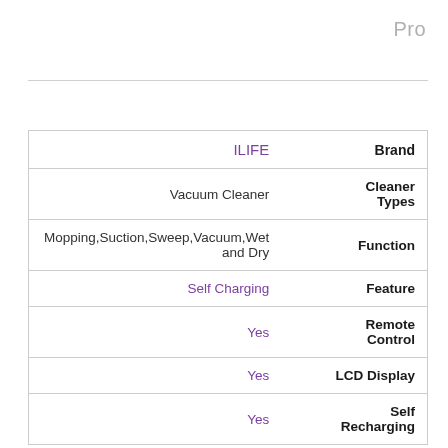Pro
| Value | Attribute |
| --- | --- |
| ILIFE | Brand |
| Vacuum Cleaner | Cleaner Types |
| Mopping,Suction,Sweep,Vacuum,Wet and Dry | Function |
| Self Charging | Feature |
| Yes | Remote Control |
| Yes | LCD Display |
| Yes | Self Recharging |